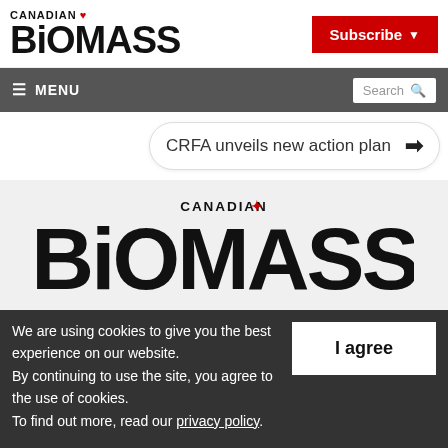CANADIAN BIOMASS
Subscribe
MENU | Search
CRFA unveils new action plan
[Figure (logo): Canadian Biomass logo — large text 'BIOMASS' with 'CANADIAN' above and maple leaf, on light grey background]
We are using cookies to give you the best experience on our website.
By continuing to use the site, you agree to the use of cookies.
To find out more, read our privacy policy.